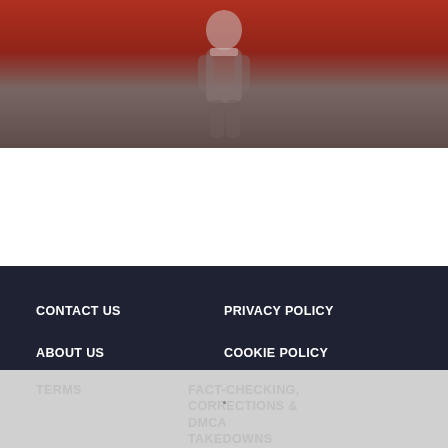[Figure (photo): Blurred photo of a football player on a red/brown field background, top portion of the page]
Madden 23 Passing: How to Throw a Touch Pass, Deep Pass, High Pass, Low Pass, and Tips & Tricks
CONTACT US  PRIVACY POLICY  ABOUT US  COOKIE POLICY  TERMS  FACT-CHECKING, CORRECTIONS & DMCA TAKEDOWNS